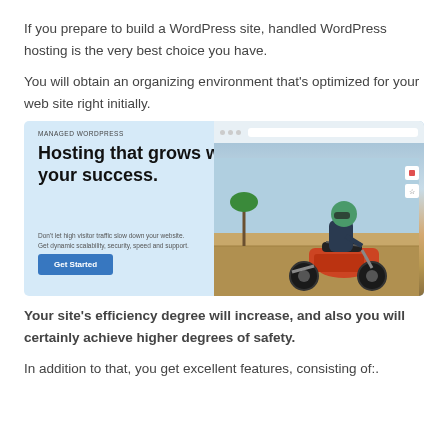If you prepare to build a WordPress site, handled WordPress hosting is the very best choice you have.
You will obtain an organizing environment that’s optimized for your web site right initially.
[Figure (screenshot): Advertisement banner for Managed WordPress hosting showing bold headline 'Hosting that grows with your success.' with a Get Started button on the left, and a photo of a person on a motorcycle on the right side, with a browser UI mock at the top right.]
Your site’s efficiency degree will increase, and also you will certainly achieve higher degrees of safety.
In addition to that, you get excellent features, consisting of:.